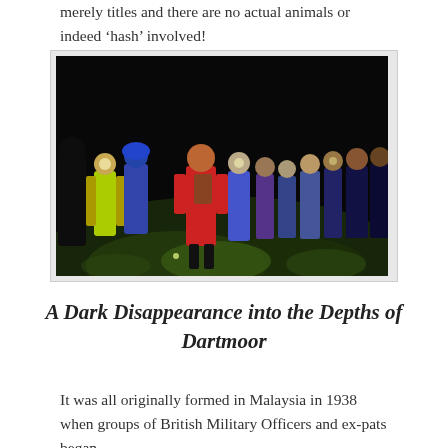merely titles and there are no actual animals or indeed 'hash' involved!
[Figure (photo): A group of runners/hikers with headlamps and reflective gear walking across a dark moorland at night, lit by green-tinted ground light. The scene is outdoors in near-total darkness with participants in colourful jackets (red, blue, green, purple).]
A Dark Disappearance into the Depths of Dartmoor
It was all originally formed in Malaysia in 1938 when groups of British Military Officers and ex-pats began